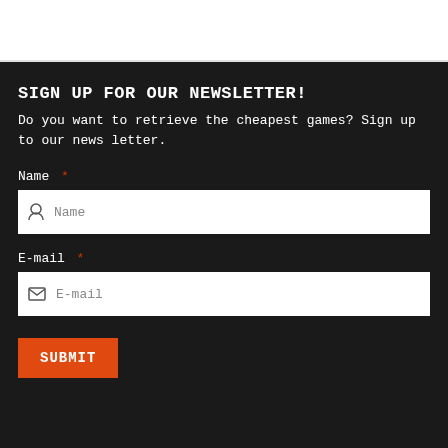SIGN UP FOR OUR NEWSLETTER!
Do you want to retrieve the cheapest games? Sign up to our news letter.
Name *
Name (input field)
E-mail *
E-mail (input field)
SUBMIT